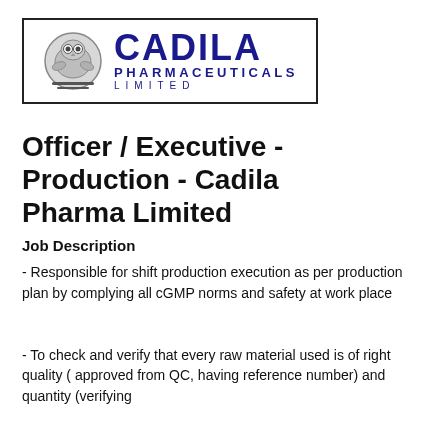[Figure (logo): Cadila Pharmaceuticals Limited logo with circular owl emblem and blue text]
Officer / Executive - Production - Cadila Pharma Limited
Job Description
- Responsible for shift production execution as per production plan by complying all cGMP norms and safety at work place
- To check and verify that every raw material used is of right quality ( approved from QC, having reference number) and quantity (verifying